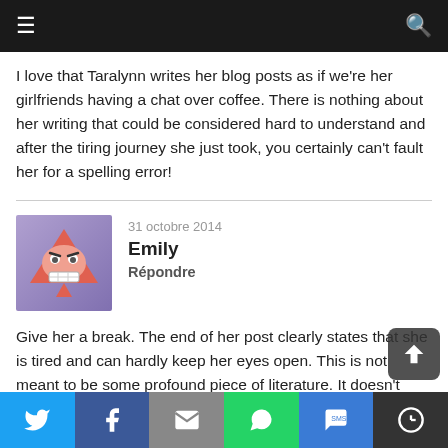Navigation bar with menu and search icons
I love that Taralynn writes her blog posts as if we're her girlfriends having a chat over coffee. There is nothing about her writing that could be considered hard to understand and after the tiring journey she just took, you certainly can't fault her for a spelling error!
31 octobre 2014
Emily
Répondre
Give her a break. The end of her post clearly states that she is tired and can hardly keep her eyes open. This is not meant to be some profound piece of literature. It doesn't have to be perfect and error free. It is simply a blog. Written by a young girl sharing her experience.
Social share bar: Twitter, Facebook, Email, WhatsApp, SMS, More